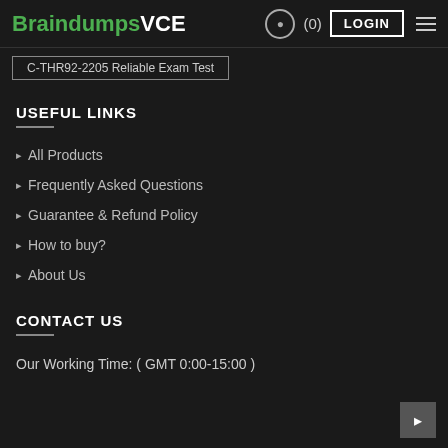BraindumpsVCE (0) LOGIN
C-THR92-2205 Reliable Exam Test
USEFUL LINKS
All Products
Frequently Asked Questions
Guarantee & Refund Policy
How to buy?
About Us
CONTACT US
Our Working Time: ( GMT 0:00-15:00 )